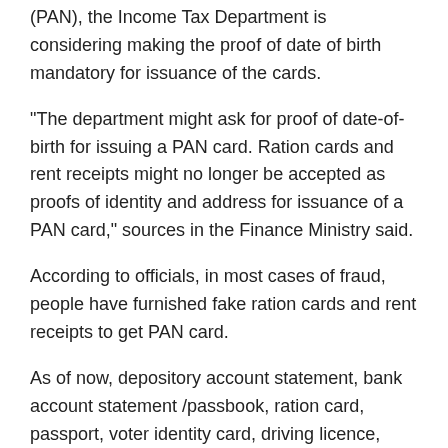(PAN), the Income Tax Department is considering making the proof of date of birth mandatory for issuance of the cards.
"The department might ask for proof of date-of-birth for issuing a PAN card. Ration cards and rent receipts might no longer be accepted as proofs of identity and address for issuance of a PAN card," sources in the Finance Ministry said.
According to officials, in most cases of fraud, people have furnished fake ration cards and rent receipts to get PAN card.
As of now, depository account statement, bank account statement /passbook, ration card, passport, voter identity card, driving licence, property tax assessment order and certain other documents are accepted as proof of identity as well as address.